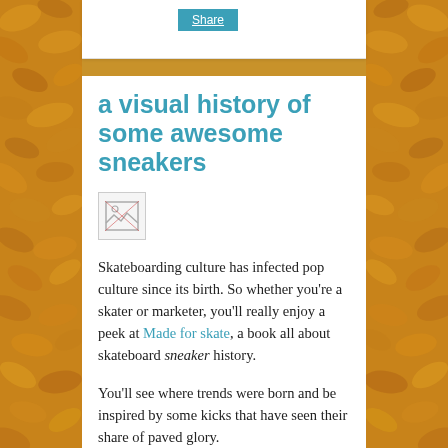Share
a visual history of some awesome sneakers
[Figure (photo): Broken image placeholder icon]
Skateboarding culture has infected pop culture since its birth. So whether you're a skater or marketer, you'll really enjoy a peek at Made for skate, a book all about skateboard sneaker history.
You'll see where trends were born and be inspired by some kicks that have seen their share of paved glory.